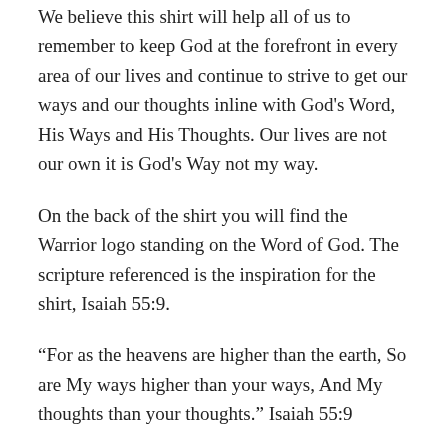We believe this shirt will help all of us to remember to keep God at the forefront in every area of our lives and continue to strive to get our ways and our thoughts inline with God's Word, His Ways and His Thoughts. Our lives are not our own it is God's Way not my way.
On the back of the shirt you will find the Warrior logo standing on the Word of God. The scripture referenced is the inspiration for the shirt, Isaiah 55:9.
“For as the heavens are higher than the earth, So are My ways higher than your ways, And My thoughts than your thoughts.” Isaiah 55:9
What are you fighting for? Are you dressed for the battles? Wear your S.W.I.F.T. gear to remind you to put on the Armor of God, fight the good fight of Faith and speak God’s Word over your life.